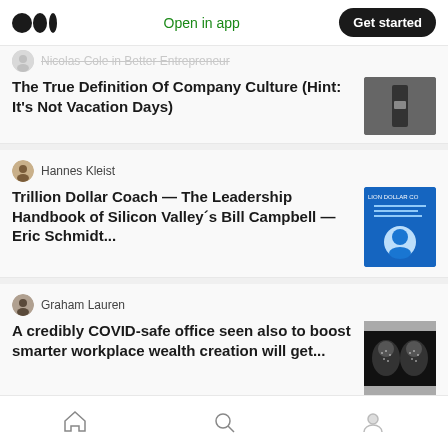Medium app header with logo, Open in app, Get started
Nicolas Cole in Better Entrepreneur
The True Definition Of Company Culture (Hint: It's Not Vacation Days)
Hannes Kleist
Trillion Dollar Coach — The Leadership Handbook of Silicon Valley´s Bill Campbell —Eric Schmidt...
Graham Lauren
A credibly COVID-safe office seen also to boost smarter workplace wealth creation will get...
Rubani Robin
Home | Search | Profile navigation